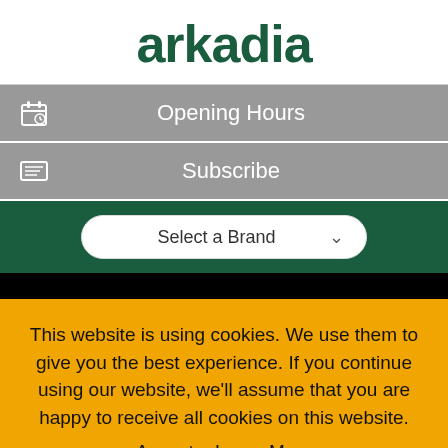arkadia
Opening Hours
Subscribe
Select a Brand
This website is using cookies. We use them to give you the best experience. If you continue using our website, we'll assume that you are happy to receive all cookies on this website.
Accept   Learn More